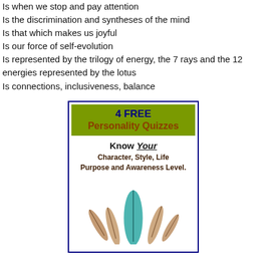Is when we stop and pay attention
Is the discrimination and syntheses of the mind
Is that which makes us joyful
Is our force of self-evolution
Is represented by the trilogy of energy, the 7 rays and the 12 energies represented by the lotus
Is connections, inclusiveness, balance
[Figure (illustration): Advertisement box with dark blue border showing '4 FREE Personality Quizzes' in olive/green header, 'Know Your Character, Style, Life Purpose and Awareness Level.' text, and feather images at bottom]